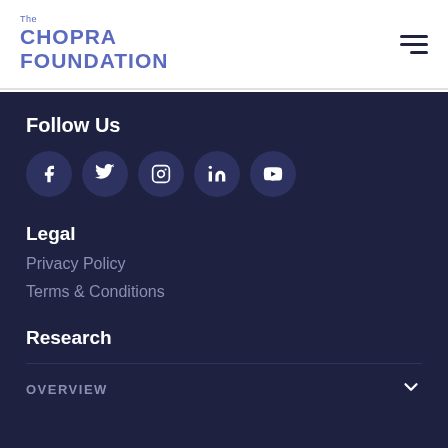The CHOPRA FOUNDATION
Follow Us
[Figure (infographic): Row of 5 social media icon circles: Facebook, Twitter, Instagram, LinkedIn, YouTube]
Legal
Privacy Policy
Terms & Conditions
Research
OVERVIEW